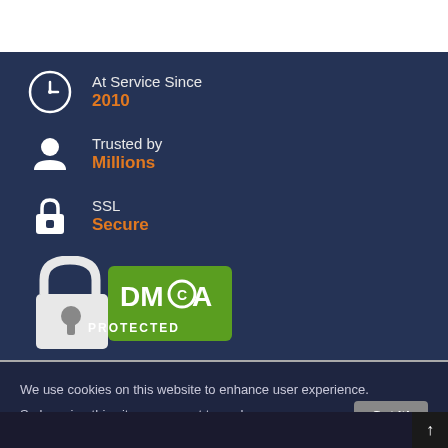At Service Since
2010
Trusted by
Millions
SSL
Secure
[Figure (logo): DMCA Protected badge with lock icon and green banner]
McAfee SECURE
100% Secure
We use cookies on this website to enhance user experience. So by using this site you accept to such use.  Got it!